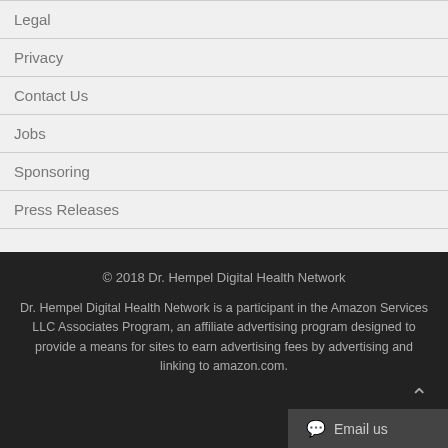Legal
Privacy
Contact Us
Jobs
Sponsoring
Press Releases
© 2018 Dr. Hempel Digital Health Network

Dr. Hempel Digital Health Network is a participant in the Amazon Services LLC Associates Program, an affiliate advertising program designed to provide a means for sites to earn advertising fees by advertising and linking to amazon.com.